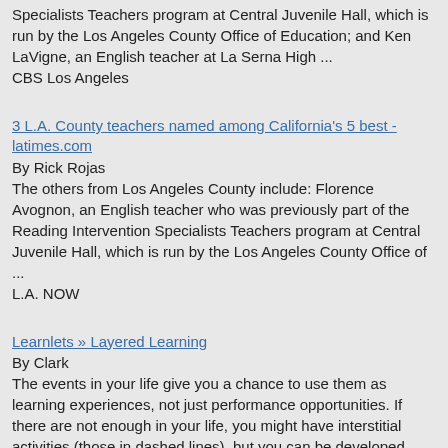Specialists Teachers program at Central Juvenile Hall, which is run by the Los Angeles County Office of Education; and Ken LaVigne, an English teacher at La Serna High ...
CBS Los Angeles
3 L.A. County teachers named among California's 5 best - latimes.com
By Rick Rojas
The others from Los Angeles County include: Florence Avognon, an English teacher who was previously part of the Reading Intervention Specialists Teachers program at Central Juvenile Hall, which is run by the Los Angeles County Office of ...
L.A. NOW
Learnlets » Layered Learning
By Clark
The events in your life give you a chance to use them as learning experiences, not just performance opportunities. If there are not enough in your life, you might have interstitial activities (those in dashed lines), but you can be developed across ...